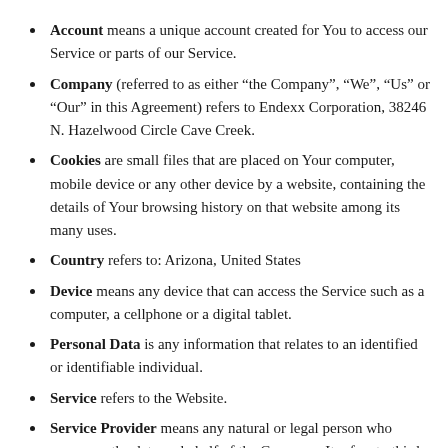Account means a unique account created for You to access our Service or parts of our Service.
Company (referred to as either “the Company”, “We”, “Us” or “Our” in this Agreement) refers to Endexx Corporation, 38246 N. Hazelwood Circle Cave Creek.
Cookies are small files that are placed on Your computer, mobile device or any other device by a website, containing the details of Your browsing history on that website among its many uses.
Country refers to: Arizona, United States
Device means any device that can access the Service such as a computer, a cellphone or a digital tablet.
Personal Data is any information that relates to an identified or identifiable individual.
Service refers to the Website.
Service Provider means any natural or legal person who processes the data on behalf of the Company. It refers to third-party companies or individuals employed by the Company to facilitate the Service, to provide the Service